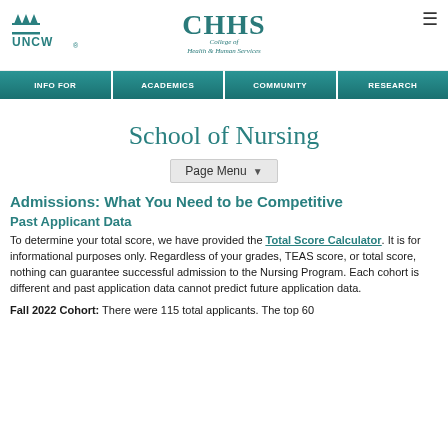[Figure (logo): UNCW logo (top left) and CHHS College of Health & Human Services logo (center)]
INFO FOR | ACADEMICS | COMMUNITY | RESEARCH
School of Nursing
Page Menu
Admissions: What You Need to be Competitive
Past Applicant Data
To determine your total score, we have provided the Total Score Calculator. It is for informational purposes only. Regardless of your grades, TEAS score, or total score, nothing can guarantee successful admission to the Nursing Program. Each cohort is different and past application data cannot predict future application data.
Fall 2022 Cohort: There were 115 total applicants. The top 60